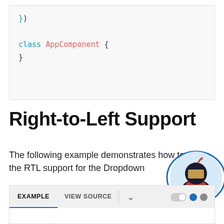[Figure (screenshot): Code block showing TypeScript/Angular code snippet: }) followed by class AppComponent { }]
Right-to-Left Support
The following example demonstrates how to utilize the RTL support for the Dropdown
[Figure (illustration): Circular avatar illustration of a ninja character with light blue background, outlined with a blue circle border]
[Figure (screenshot): Tab bar UI with EXAMPLE (active, blue underline) and VIEW SOURCE tabs, a dropdown chevron, toggle switch and two dots (blue and gray)]